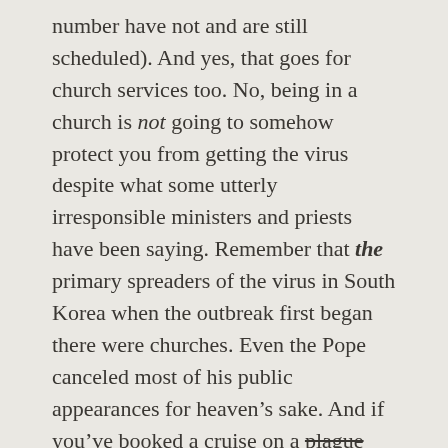number have not and are still scheduled). And yes, that goes for church services too. No, being in a church is not going to somehow protect you from getting the virus despite what some utterly irresponsible ministers and priests have been saying. Remember that the primary spreaders of the virus in South Korea when the outbreak first began there were churches. Even the Pope canceled most of his public appearances for heaven's sake. And if you've booked a cruise on a plague ship (ahem, excuse me) cruise ship, well, you're on your own.

If you're sick, stay home. About 80% of the people who get it have symptoms that are relatively mild and a lot of people will be